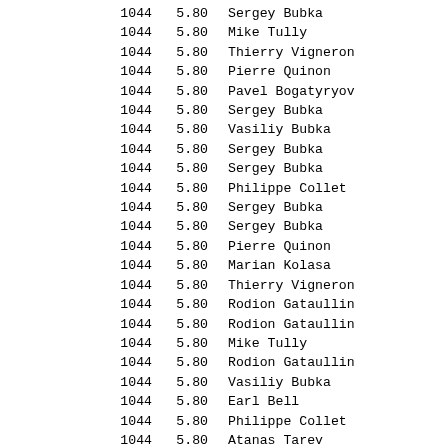| Col1 | Col2 | Name |
| --- | --- | --- |
| 1044 | 5.80 | Sergey Bubka |
| 1044 | 5.80 | Mike Tully |
| 1044 | 5.80 | Thierry Vigneron |
| 1044 | 5.80 | Pierre Quinon |
| 1044 | 5.80 | Pavel Bogatyryov |
| 1044 | 5.80 | Sergey Bubka |
| 1044 | 5.80 | Vasiliy Bubka |
| 1044 | 5.80 | Sergey Bubka |
| 1044 | 5.80 | Sergey Bubka |
| 1044 | 5.80 | Philippe Collet |
| 1044 | 5.80 | Sergey Bubka |
| 1044 | 5.80 | Sergey Bubka |
| 1044 | 5.80 | Pierre Quinon |
| 1044 | 5.80 | Marian Kolasa |
| 1044 | 5.80 | Thierry Vigneron |
| 1044 | 5.80 | Rodion Gataullin |
| 1044 | 5.80 | Rodion Gataullin |
| 1044 | 5.80 | Mike Tully |
| 1044 | 5.80 | Rodion Gataullin |
| 1044 | 5.80 | Vasiliy Bubka |
| 1044 | 5.80 | Earl Bell |
| 1044 | 5.80 | Philippe Collet |
| 1044 | 5.80 | Atanas Tarev |
| 1044 | 5.80 | Billy Olson |
| 1044 | 5.80 | Joe Dial |
| 1044 | 5.80 | Joe Dial |
| 1044 | 5.80 | Mike Tully |
| 1044 | 5.80A | Mike Tully |
| 1044 | 5.80 | Ferenc Salbert |
| 1044 | 5.80A | Joe Dial |